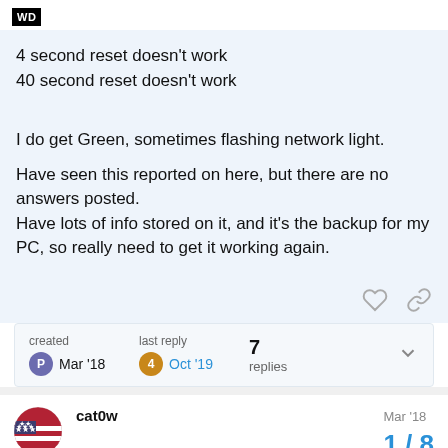WD
4 second reset doesn't work
40 second reset doesn't work

I do get Green, sometimes flashing network light.

Have seen this reported on here, but there are no answers posted.
Have lots of info stored on it, and it's the backup for my PC, so really need to get it working again.
created Mar '18   last reply Oct '19   7 replies
cat0w   Mar '18
1 / 8
@Paddy2101